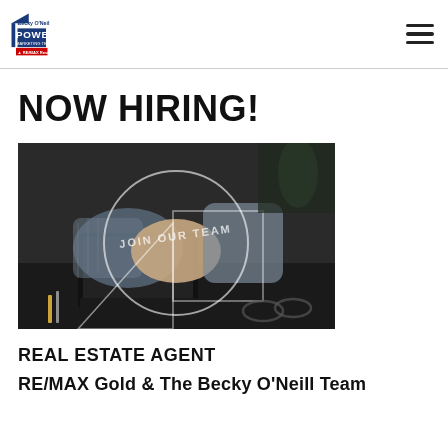Becky O'Neil Power Marketing Team RE/MAX Results
NOW HIRING!
[Figure (photo): Two people shaking hands over a desk with a laptop and office supplies, overlaid with geometric shapes and the text 'JOIN OUR TEAM']
REAL ESTATE AGENT
RE/MAX Gold & The Becky O'Neill Team